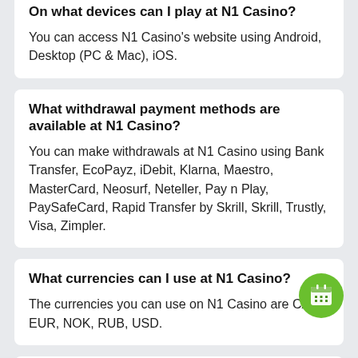On what devices can I play at N1 Casino?
You can access N1 Casino's website using Android, Desktop (PC & Mac), iOS.
What withdrawal payment methods are available at N1 Casino?
You can make withdrawals at N1 Casino using Bank Transfer, EcoPayz, iDebit, Klarna, Maestro, MasterCard, Neosurf, Neteller, Pay n Play, PaySafeCard, Rapid Transfer by Skrill, Skrill, Trustly, Visa, Zimpler.
What currencies can I use at N1 Casino?
The currencies you can use on N1 Casino are CAD, EUR, NOK, RUB, USD.
What languages are available at N1 Casino?